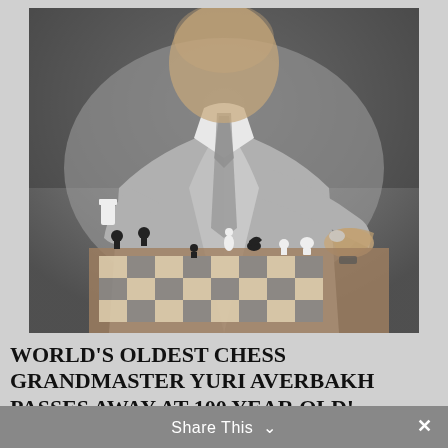[Figure (photo): Black and white photograph of an older man in a suit and tie, leaning over a chess board and moving chess pieces with his hand. Chess pieces are visible on the board.]
WORLD'S OLDEST CHESS GRANDMASTER YURI AVERBAKH PASSES AWAY AT 100 YEAR OLD!
Share This ∨  ✕